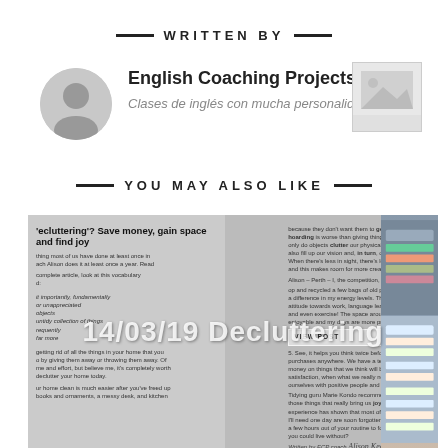WRITTEN BY
English Coaching Projects
Clases de inglés con mucha personalidad
YOU MAY ALSO LIKE
[Figure (screenshot): Article thumbnail preview showing a blog post titled '14/03/19 Decluttering' with text about decluttering and a VIEW POST button overlay, alongside a photo of shelves with folded items.]